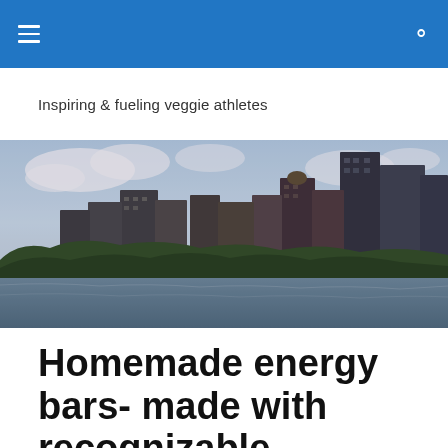Navigation bar with hamburger menu and search icon
Inspiring & fueling veggie athletes
[Figure (photo): City skyline with tall buildings against a cloudy sky, viewed from across a body of water, with trees in the foreground. Photo has a slightly desaturated, vintage-toned look.]
Homemade energy bars- made with recognizable ingredients!
First line of article text (partially visible)